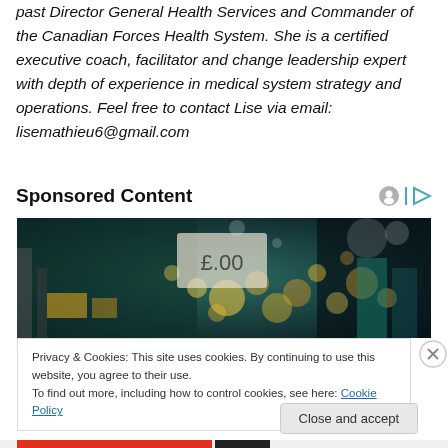past Director General Health Services and Commander of the Canadian Forces Health System. She is a certified executive coach, facilitator and change leadership expert with depth of experience in medical system strategy and operations. Feel free to contact Lise via email: lisemathieu6@gmail.com
Sponsored Content
[Figure (photo): Blurred bokeh photo of an indoor market or trade show with lights and colorful stalls]
Privacy & Cookies: This site uses cookies. By continuing to use this website, you agree to their use.
To find out more, including how to control cookies, see here: Cookie Policy
Close and accept